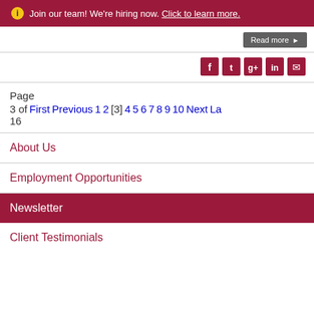ⓘ Join our team! We're hiring now. Click to learn more.
Read more ▶
[Figure (other): Social media icons: Facebook, Twitter, Google+, LinkedIn, Email — dark red square icon buttons]
Page
3 of  First  Previous  1  2  [3]  4  5  6  7  8  9  10  Next  La
16
About Us
Employment Opportunities
Newsletter
Client Testimonials